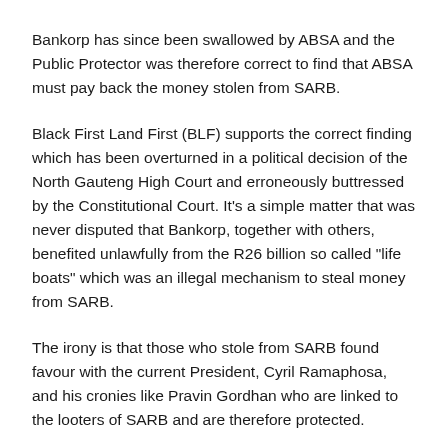Bankorp has since been swallowed by ABSA and the Public Protector was therefore correct to find that ABSA must pay back the money stolen from SARB.
Black First Land First (BLF) supports the correct finding which has been overturned in a political decision of the North Gauteng High Court and erroneously buttressed by the Constitutional Court. It's a simple matter that was never disputed that Bankorp, together with others, benefited unlawfully from the R26 billion so called "life boats" which was an illegal mechanism to steal money from SARB.
The irony is that those who stole from SARB found favour with the current President, Cyril Ramaphosa, and his cronies like Pravin Gordhan who are linked to the looters of SARB and are therefore protected.